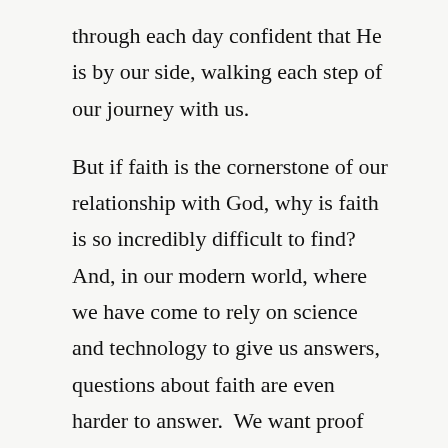through each day confident that He is by our side, walking each step of our journey with us.
But if faith is the cornerstone of our relationship with God, why is faith is so incredibly difficult to find? And, in our modern world, where we have come to rely on science and technology to give us answers, questions about faith are even harder to answer.  We want proof for our belief, proof before we will believe.
I've been reading the book God's Crime Scene by J. Warner Wallace recently.  And, while I haven't gotten all the way through it yet, the case for a creator of the universe, as presented by a seasoned detective who solved more than his share of cold cases, is compelling. I can and would suggest you read it, but here's the